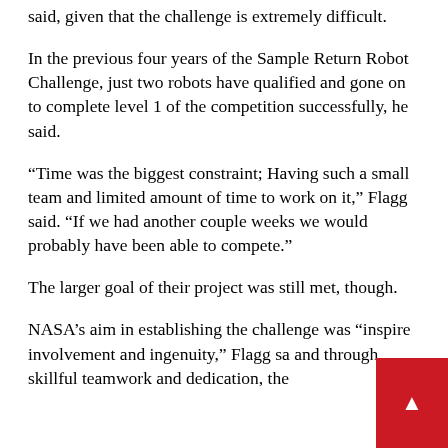said, given that the challenge is extremely difficult.
In the previous four years of the Sample Return Robot Challenge, just two robots have qualified and gone on to complete level 1 of the competition successfully, he said.
“Time was the biggest constraint; Having such a small team and limited amount of time to work on it,” Flagg said. “If we had another couple weeks we would probably have been able to compete.”
The larger goal of their project was still met, though.
NASA’s aim in establishing the challenge was “inspire involvement and ingenuity,” Flagg sa and through skillful teamwork and dedication, the